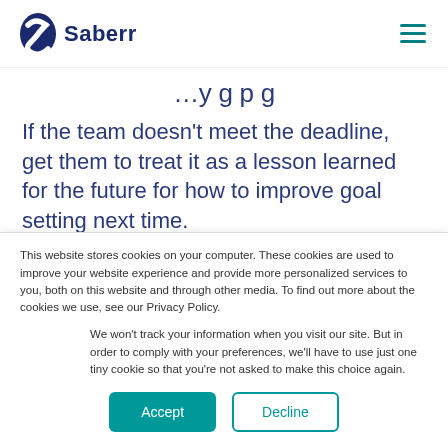Saberr
…y g p g
If the team doesn't meet the deadline, get them to treat it as a lesson learned for the future for how to improve goal setting next time.
Need help understanding how to drive
This website stores cookies on your computer. These cookies are used to improve your website experience and provide more personalized services to you, both on this website and through other media. To find out more about the cookies we use, see our Privacy Policy.
We won't track your information when you visit our site. But in order to comply with your preferences, we'll have to use just one tiny cookie so that you're not asked to make this choice again.